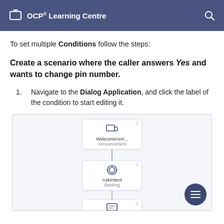OCP® Learning Centre
To set multiple Conditions follow the steps:
Create a scenario where the caller answers Yes and wants to change pin number.
Navigate to the Dialog Application, and click the label of the condition to start editing it.
[Figure (screenshot): Screenshot of a Dialog Application workflow canvas showing two nodes: WelcomeAnn... (Announcement) and AskIntent (Banking), connected vertically by a line, with a third node partially visible at the bottom. A hamburger menu FAB button appears in the bottom right.]